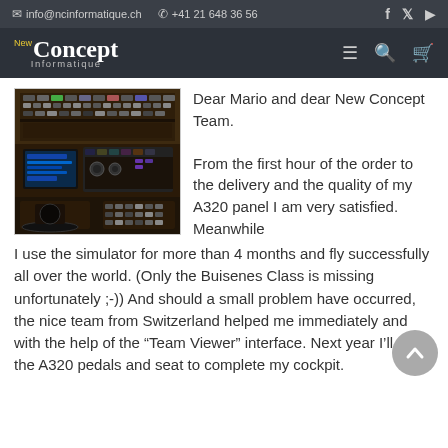info@ncinformatique.ch  +41 21 648 36 56
[Figure (logo): New Concept Informatique logo with navigation icons (hamburger menu, search, cart)]
[Figure (photo): Cockpit simulator panel photo showing an A320 flight simulator with numerous buttons, displays and controls]
Dear Mario and dear New Concept Team.

From the first hour of the order to the delivery and the quality of my A320 panel I am very satisfied. Meanwhile I use the simulator for more than 4 months and fly successfully all over the world. (Only the Buisenes Class is missing unfortunately ;-)) And should a small problem have occurred, the nice team from Switzerland helped me immediately and with the help of the “Team Viewer” interface. Next year I’ll get the A320 pedals and seat to complete my cockpit.